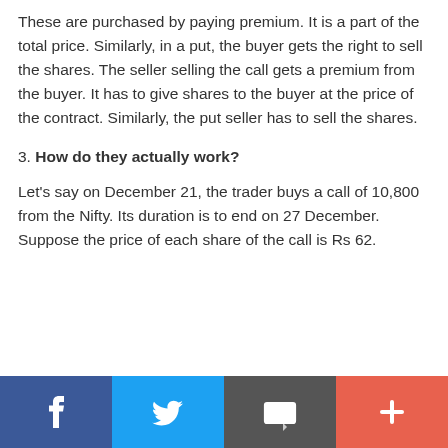These are purchased by paying premium. It is a part of the total price. Similarly, in a put, the buyer gets the right to sell the shares. The seller selling the call gets a premium from the buyer. It has to give shares to the buyer at the price of the contract. Similarly, the put seller has to sell the shares.
3. How do they actually work?
Let's say on December 21, the trader buys a call of 10,800 from the Nifty. Its duration is to end on 27 December. Suppose the price of each share of the call is Rs 62.